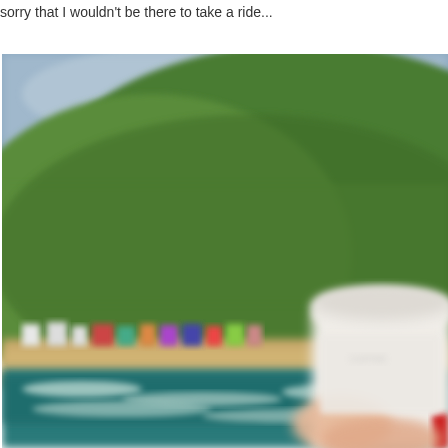sorry that I wouldn't be there to take a ride...
[Figure (photo): A blurred outdoor photo showing a coastal beach scene with green hills in the background, waves on the water, colorful beach huts or caravans along the shore, and a hand holding a white takeaway coffee cup in the foreground.]